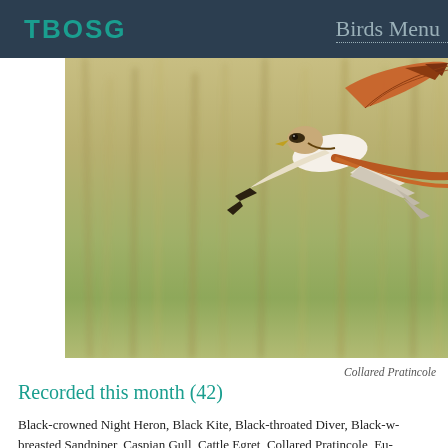TBOSG   Birds Menu
[Figure (photo): A Collared Pratincole in flight against a blurred golden grass background. The bird shows rufous-orange wings, white underparts, and distinctive forked tail.]
Collared Pratincole
Recorded this month (42)
Black-crowned Night Heron, Black Kite, Black-throated Diver, Black-w- breasted Sandpiper, Caspian Gull, Cattle Egret, Collared Pratincole, Eu- Oriole, Great Northern Diver, Honey Buzzard, Hooded Crow, Iceland G- Gull, Long-tailed Duck, Montagu's Harrier, Northern Willow Warbler, R- spotted Bluethroat, Red-throated Diver, Richard's Pipit, Ring-necked D-